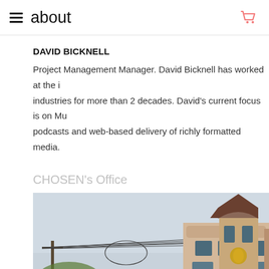about
DAVID BICKNELL
Project Management Manager. David Bicknell has worked at the industries for more than 2 decades. David's current focus is on Mu podcasts and web-based delivery of richly formatted media.
CHOSEN's Office
[Figure (photo): Exterior photo of CHOSEN's Office building — a multi-story commercial building with a distinctive turret-style corner tower with a dark brown pyramidal roof, arched windows, electric power lines in the foreground, and a golden emblem on the facade.]